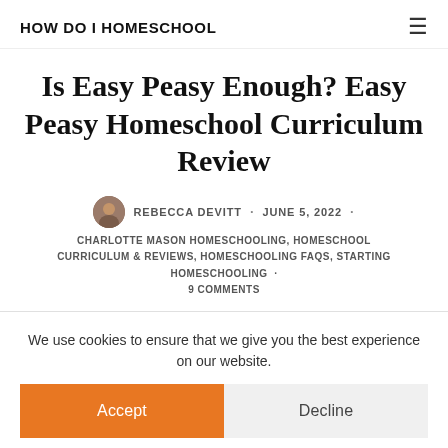HOW DO I HOMESCHOOL
Is Easy Peasy Enough? Easy Peasy Homeschool Curriculum Review
REBECCA DEVITT · JUNE 5, 2022 · CHARLOTTE MASON HOMESCHOOLING, HOMESCHOOL CURRICULUM & REVIEWS, HOMESCHOOLING FAQS, STARTING HOMESCHOOLING · 9 COMMENTS
We use cookies to ensure that we give you the best experience on our website.